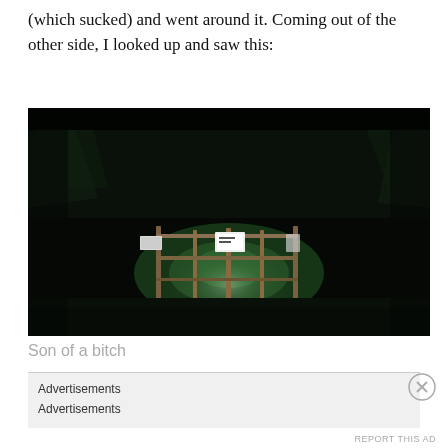(which sucked) and went around it. Coming out of the other side, I looked up and saw this:
[Figure (photo): Nighttime photo of a metal gate or fence blocking a path, illuminated from below by a flashlight or headlamp. The gate has signs on it and is surrounded by dark trees and vegetation. The scene is very dark with only the gate and surrounding ground visible.]
Son of a bitch
Advertisements
Advertisements